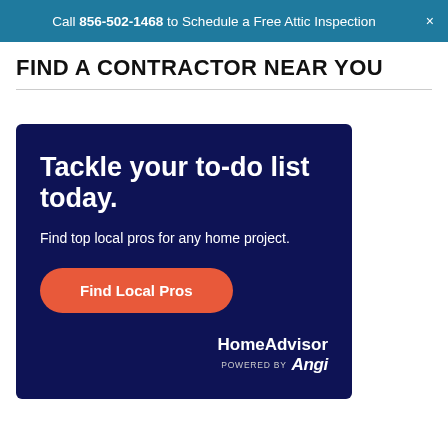Call 856-502-1468 to Schedule a Free Attic Inspection
FIND A CONTRACTOR NEAR YOU
[Figure (infographic): HomeAdvisor / Angi advertisement banner with dark navy background. Headline: 'Tackle your to-do list today.' Subtext: 'Find top local pros for any home project.' Orange pill-shaped button: 'Find Local Pros'. Logo: HomeAdvisor powered by Angi.]